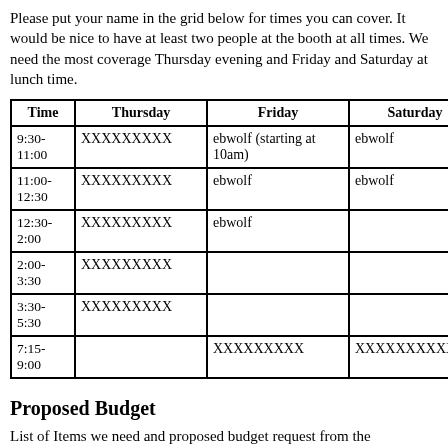Please put your name in the grid below for times you can cover. It would be nice to have at least two people at the booth at all times. We need the most coverage Thursday evening and Friday and Saturday at lunch time.
| Time | Thursday | Friday | Saturday | Sunday |
| --- | --- | --- | --- | --- |
| 9:30-11:00 | XXXXXXXXX | ebwolf (starting at 10am) | ebwolf |  |
| 11:00-12:30 | XXXXXXXXX | ebwolf | ebwolf |  |
| 12:30-2:00 | XXXXXXXXX | ebwolf |  |  |
| 2:00-3:30 | XXXXXXXXX |  |  | ebwolf |
| 3:30-5:30 | XXXXXXXXX |  |  | XXXXXX |
| 7:15-9:00 |  | XXXXXXXXX | XXXXXXXXXX | XXXXXX |
Proposed Budget
List of Items we need and proposed budget request from the